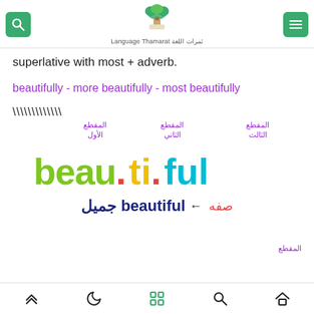Language Thamarat ثمرات اللغة
superlative with most + adverb.
beautifully - more beautifully - most beautifully
\\\\\\\\\\\\
[Figure (infographic): Syllable breakdown of the word 'beautiful' into three syllables: beau. ti. ful, each labeled in Arabic (المقطع الأول, المقطع الثاني, المقطع الثالث), with colored text (green, yellow, cyan). Below is the meaning: صفه ← beautiful جميل in dark blue.]
المقطع
Navigation icons: up, moon, grid, search, home